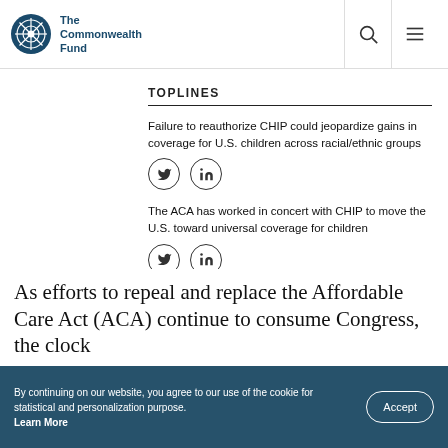The Commonwealth Fund
TOPLINES
Failure to reauthorize CHIP could jeopardize gains in coverage for U.S. children across racial/ethnic groups
[Figure (other): Twitter and LinkedIn social share icons (circle outlines with bird and 'in' symbols)]
The ACA has worked in concert with CHIP to move the U.S. toward universal coverage for children
[Figure (other): Twitter and LinkedIn social share icons (circle outlines with bird and 'in' symbols)]
As efforts to repeal and replace the Affordable Care Act (ACA) continue to consume Congress, the clock
By continuing on our website, you agree to our use of the cookie for statistical and personalization purpose. Learn More